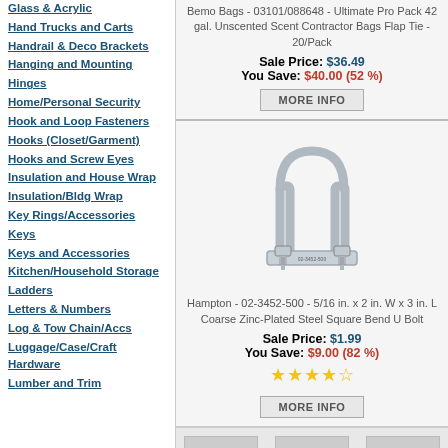Glass & Acrylic
Hand Trucks and Carts
Handrail & Deco Brackets
Hanging and Mounting
Hinges
Home/Personal Security
Hook and Loop Fasteners
Hooks (Closet/Garment)
Hooks and Screw Eyes
Insulation and House Wrap
Insulation/Bldg Wrap
Key Rings/Accessories
Keys
Keys and Accessories
Kitchen/Household Storage
Ladders
Letters & Numbers
Log & Tow Chain/Accs
Luggage/Case/Craft Hardware
Lumber and Trim
Bemo Bags - 03101/088648 - Ultimate Pro Pack 42 gal. Unscented Scent Contractor Bags Flap Tie - 20/Pack
Sale Price: $36.49
You Save: $40.00 (52 %)
MORE INFO
[Figure (photo): Photo of a zinc-plated steel square bend U bolt]
Hampton - 02-3452-500 - 5/16 in. x 2 in. W x 3 in. L Coarse Zinc-Plated Steel Square Bend U Bolt
Sale Price: $1.99
You Save: $9.00 (82 %)
★★★★☆
MORE INFO